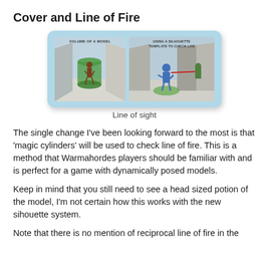Cover and Line of Fire
[Figure (illustration): Two side-by-side diagrams illustrating line of sight rules. Left panel labeled 'VOLUME OF A MODEL' shows a brown miniature figure enclosed in a green transparent cylinder. Right panel labeled 'USING A SILHOUETTE TEMPLATE TO CHECK LOS' shows a blue miniature figure on a green base with a red line of fire extending toward a green model partially behind a wall/cover block.]
Line of sight
The single change I've been looking forward to the most is that 'magic cylinders' will be used to check line of fire. This is a method that Warmahordes players should be familiar with and is perfect for a game with dynamically posed models.
Keep in mind that you still need to see a head sized potion of the model, I'm not certain how this works with the new sihouette system.
Note that there is no mention of reciprocal line of fire in the